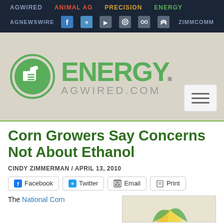AGWIRED  ANIMAL AG  PRECISION  ENERGY  AGNEWSWIRE  ZIMMCOMM
[Figure (logo): ENERGY.AGWIRED.COM logo with green thumbs-up icon]
Corn Growers Say Concerns Not About Ethanol
CINDY ZIMMERMAN / APRIL 13, 2010
Facebook  Twitter  Email  Print
The National Corn